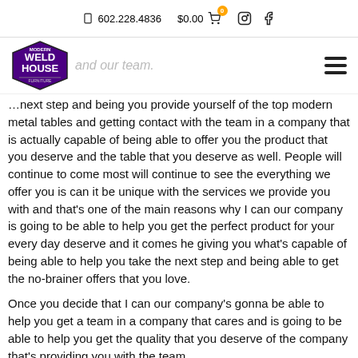602.228.4836   $0.00   0
[Figure (logo): Modern Weld House Furniture logo — purple hexagonal badge with white text]
…next step and being you provide yourself of the top modern metal tables and getting contact with the team in a company that is actually capable of being able to offer you the product that you deserve and the table that you deserve as well. People will continue to come most will continue to see the everything we offer you is can it be unique with the services we provide you with and that's one of the main reasons why I can our company is going to be able to help you get the perfect product for your every day deserve and it comes he giving you what's capable of being able to help you take the next step and being able to get the no-brainer offers that you love.
Once you decide that I can our company's gonna be able to help you get a team in a company that cares and is going to be able to help you get the quality that you deserve of the company that's providing you with the team